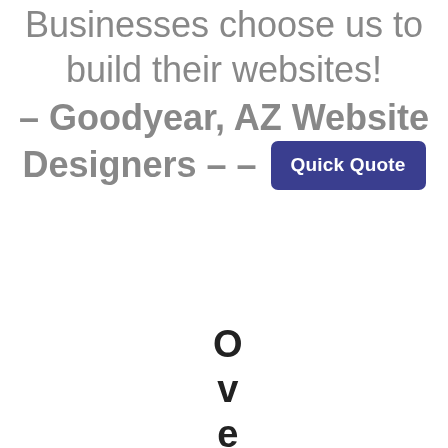Businesses choose us to build their websites! – Goodyear, AZ Website Designers – –
[Figure (other): Quick Quote button — a dark blue/indigo rounded rectangle button with white bold text reading 'Quick Quote']
Over $4 Milli (vertical text, each character on its own line)